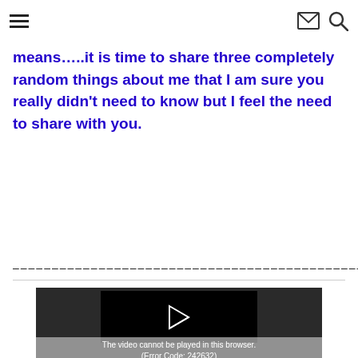[hamburger menu icon] [mail icon] [search icon]
means…..it is time to share three completely random things about me that I am sure you really didn't need to know but I feel the need to share with you.
————————————————————————————
[Figure (screenshot): Embedded video player with dark background showing a play button arrow icon. Below it shows the error message: The video cannot be played in this browser. (Error Code: 242632)]